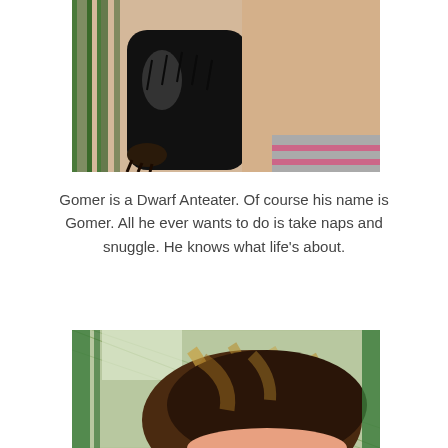[Figure (photo): Close-up photo of a small dark-furred animal (Dwarf Anteater/Gomer) held by a person, with metal fence bars in background. Animal has black and white fur.]
Gomer is a Dwarf Anteater. Of course his name is Gomer. All he ever wants to do is take naps and snuggle. He knows what life's about.
[Figure (photo): Photo of a woman with brown highlighted hair, partially visible face, in front of a chain-link fence with greenery visible in background.]